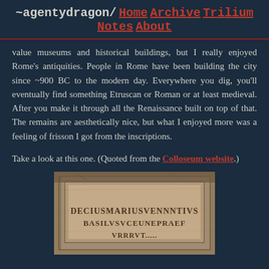~agentydragon/ Home Archive Trilium Notes About
value museums and historical buildings, but I really enjoyed Rome's antiquities. People in Rome have been building the city since ~900 BC to the modern day. Everywhere you dig, you'll eventually find something Etruscan or Roman or at least medieval. After you make it through all the Renaissance built on top of that. The remains are aesthetically nice, but what I enjoyed more was a feeling of frisson I got from the inscriptions.
Take a look at this one. (Quoted from the Colloseum website.)
[Figure (photo): A photograph of an ancient Roman stone inscription at the Colosseum, showing carved Latin text: DECIUSMARIUSVENNNTIVS BASILVSVCEUNEPRAEF and partial third line.]